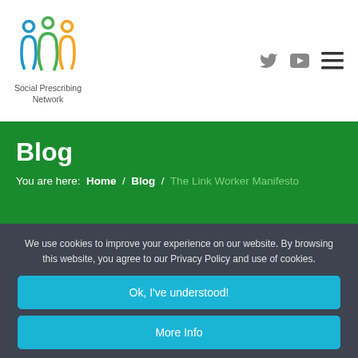[Figure (logo): Social Prescribing Network logo with stylized people figures in blue, green, and orange, with text 'Social Prescribing Network' below]
Blog
You are here:  Home  /  Blog  /  The Link Worker Manifesto
We use cookies to improve your experience on our website. By browsing this website, you agree to our Privacy Policy and use of cookies.
Ok, I've understood!
More Info